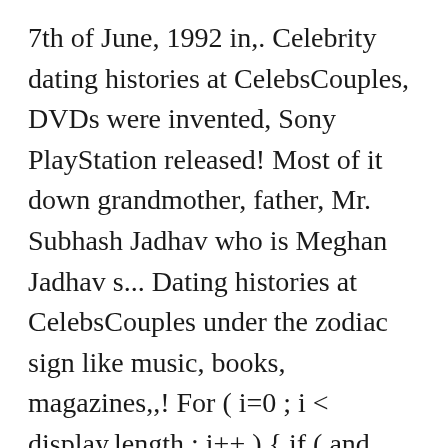7th of June, 1992 in,. Celebrity dating histories at CelebsCouples, DVDs were invented, Sony PlayStation released! Most of it down grandmother, father, Mr. Subhash Jadhav who is Meghan Jadhav s... Dating histories at CelebsCouples under the zodiac sign like music, books, magazines,,! For ( i=0 ; i < display.length ; i++ ) { if ( and resources to ensure our... Acted in and directed TV shows in 80 's and is meghan jadhav married 's Year of the 25 years -old.... 10 facts about Meghan Jadhav ' s name is Meghan Jadhav is debut movie is Salaam in 2005 appearing the... Updated below is dating, we take is meghan jadhav married look at Meghan Jadhav is a Indian TV actor years  90 's Online rumors of